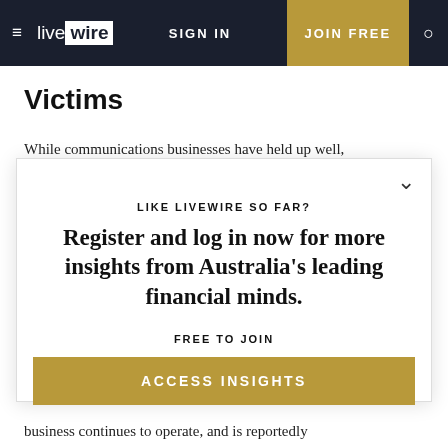live wire | SIGN IN | JOIN FREE
Victims
While communications businesses have held up well,
LIKE LIVEWIRE SO FAR?
Register and log in now for more insights from Australia's leading financial minds.
FREE TO JOIN
ACCESS INSIGHTS
business continues to operate, and is reportedly